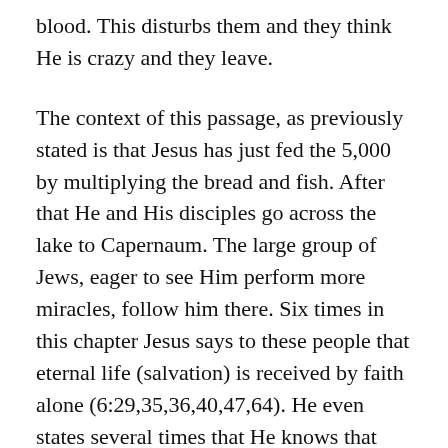blood. This disturbs them and they think He is crazy and they leave.
The context of this passage, as previously stated is that Jesus has just fed the 5,000 by multiplying the bread and fish. After that He and His disciples go across the lake to Capernaum. The large group of Jews, eager to see Him perform more miracles, follow him there. Six times in this chapter Jesus says to these people that eternal life (salvation) is received by faith alone (6:29,35,36,40,47,64). He even states several times that He knows that these people do not believe in Him. From their attitude and words and from what Jesus says to them, it is obvious that they are only drawn to Him because of the miracles. They chase Him all the way across the lake to see more miracles after being